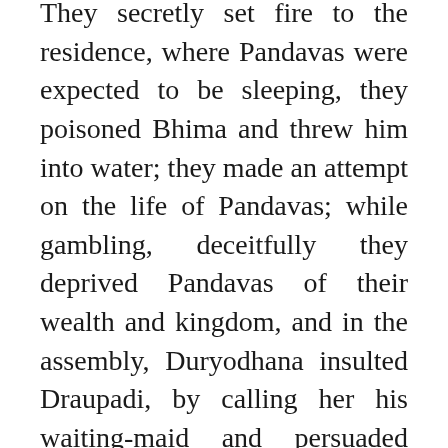They secretly set fire to the residence, where Pandavas were expected to be sleeping, they poisoned Bhima and threw him into water; they made an attempt on the life of Pandavas; while gambling, deceitfully they deprived Pandavas of their wealth and kingdom, and in the assembly, Duryodhana insulted Draupadi, by calling her his waiting-maid and persuaded Jayadratha to kidnap Draupadi, and he kidnapped her.
However Arjuna thought it better not to kill his own close relatives, whatever they may have done and forgive them on the grounds of religion and saintly behaviour.